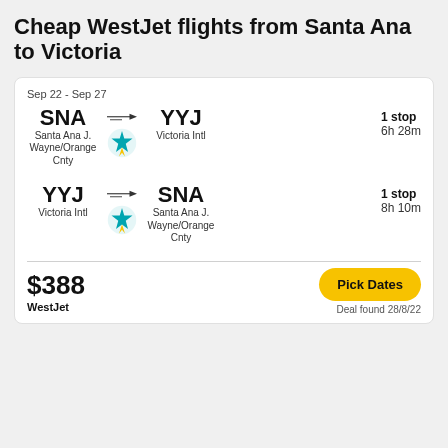Cheap WestJet flights from Santa Ana to Victoria
Sep 22 - Sep 27
SNA → YYJ | Santa Ana J. Wayne/Orange Cnty → Victoria Intl | 1 stop | 6h 28m
YYJ → SNA | Victoria Intl → Santa Ana J. Wayne/Orange Cnty | 1 stop | 8h 10m
$388
WestJet
Pick Dates
Deal found 28/8/22